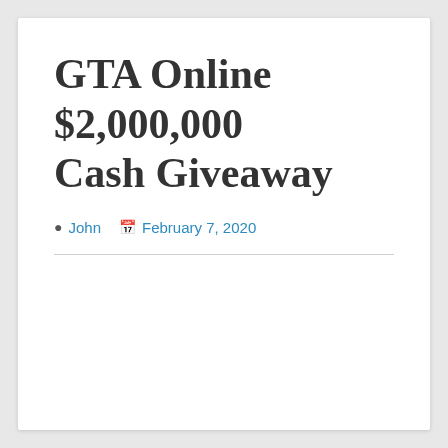GTA Online $2,000,000 Cash Giveaway
John  February 7, 2020